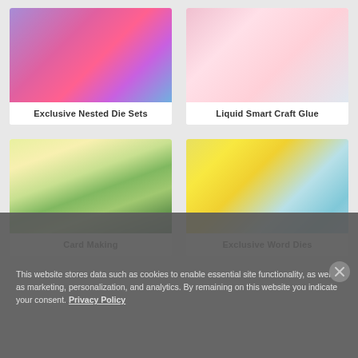[Figure (photo): Crafting photo showing colorful nested die sets with purple, pink and blue card stock]
Exclusive Nested Die Sets
[Figure (photo): Close-up of hands using Liquid Smart Craft Glue bottle on paper crafting project]
Liquid Smart Craft Glue
[Figure (photo): Colorful floral card making project with flowers in an envelope on green grass background]
Card Making
[Figure (photo): Hand peeling silver word die off a yellow and teal ombre card]
Exclusive Word Dies
This website stores data such as cookies to enable essential site functionality, as well as marketing, personalization, and analytics. By remaining on this website you indicate your consent. Privacy Policy